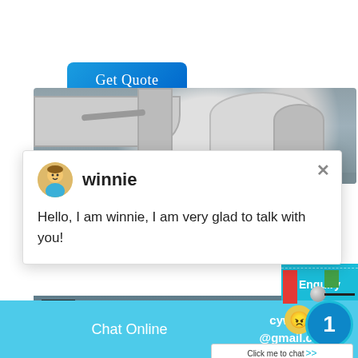[Figure (screenshot): Blue 'Get Quote' button with rounded corners and white text]
[Figure (photo): Industrial photo showing large white pipes, ducts and cylindrical silos or tanks in an industrial setting]
[Figure (screenshot): Live chat popup window with avatar of agent named 'winnie' and text: Hello, I am winnie, I am very glad to talk with you!]
[Figure (photo): Industrial photo showing machinery, large white containers and equipment in a factory or industrial facility]
[Figure (screenshot): Cyan sidebar panel with emoji face, notification badge showing '1', 'Click me to chat >>' button, and 'Enquiry' label]
Chat Online   cywaitml@gmail.com